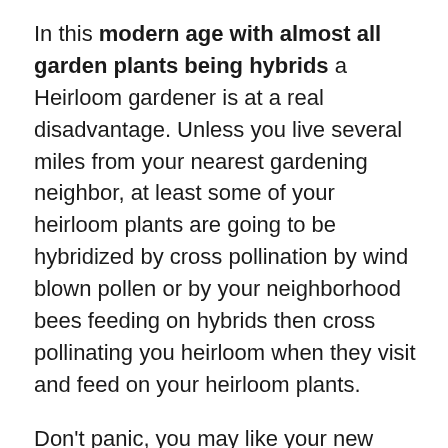In this modern age with almost all garden plants being hybrids a Heirloom gardener is at a real disadvantage. Unless you live several miles from your nearest gardening neighbor, at least some of your heirloom plants are going to be hybridized by cross pollination by wind blown pollen or by your neighborhood bees feeding on hybrids then cross pollinating you heirloom when they visit and feed on your heirloom plants.
Don't panic, you may like your new plant(s) better than your original heirloom planting. This accidental hybridizing (cross pollination) is how nature has handled plant evolution for billions of years. I never concern myself about this cross pollination problem. I select fruit from the plants I like most and save their seeds. How they got to be what they are is beyond my control and I simply don't